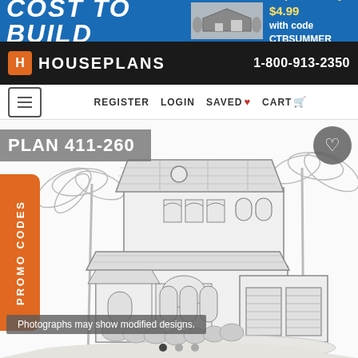[Figure (screenshot): Banner advertisement for Cost to Build service showing a house photo and promotional text: Reports only $4.99 with code CTBSUMMER, limit one per order]
HOUSEPLANS   1-800-913-2350
REGISTER   LOGIN   SAVED   CART
PLAN 411-260
[Figure (illustration): Architectural line drawing / elevation illustration of a Mediterranean-style two-story house with arched windows, tile roof, attached two-car garage, palm trees, and landscaping]
Photographs may show modified designs.
PROMO CODES